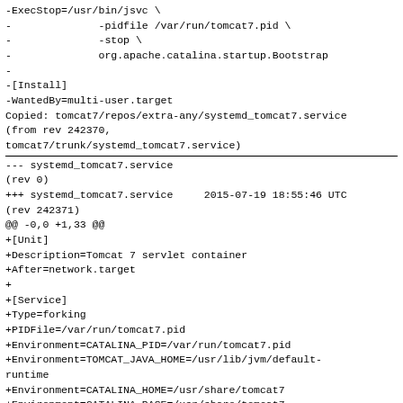-ExecStop=/usr/bin/jsvc \
-              -pidfile /var/run/tomcat7.pid \
-              -stop \
-              org.apache.catalina.startup.Bootstrap
-
-[Install]
-WantedBy=multi-user.target
Copied: tomcat7/repos/extra-any/systemd_tomcat7.service
(from rev 242370,
tomcat7/trunk/systemd_tomcat7.service)
--- systemd_tomcat7.service
(rev 0)
+++ systemd_tomcat7.service     2015-07-19 18:55:46 UTC
(rev 242371)
@@ -0,0 +1,33 @@
+[Unit]
+Description=Tomcat 7 servlet container
+After=network.target
+
+[Service]
+Type=forking
+PIDFile=/var/run/tomcat7.pid
+Environment=CATALINA_PID=/var/run/tomcat7.pid
+Environment=TOMCAT_JAVA_HOME=/usr/lib/jvm/default-runtime
+Environment=CATALINA_HOME=/usr/share/tomcat7
+Environment=CATALINA_BASE=/usr/share/tomcat7
+Environment=CATALINA_OPTS=